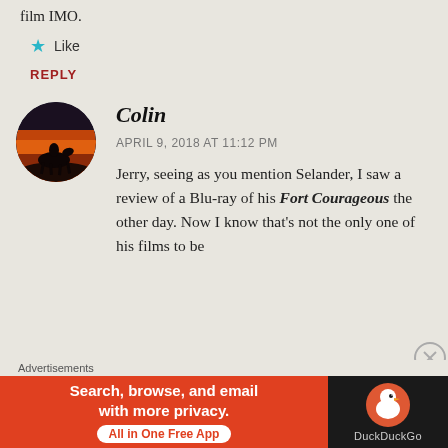film IMO.
★ Like
REPLY
[Figure (photo): Circular avatar showing silhouette of person on horseback against a fiery sunset sky]
Colin
APRIL 9, 2018 AT 11:12 PM
Jerry, seeing as you mention Selander, I saw a review of a Blu-ray of his Fort Courageous the other day. Now I know that's not the only one of his films to be
Advertisements
[Figure (screenshot): DuckDuckGo advertisement banner: 'Search, browse, and email with more privacy. All in One Free App' with DuckDuckGo logo on dark background]